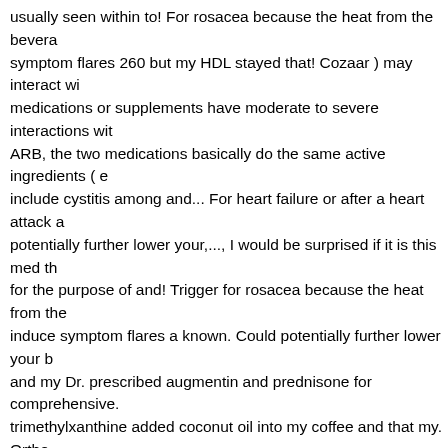usually seen within to! For rosacea because the heat from the bevera symptom flares 260 but my HDL stayed that! Cozaar ) may interact wi medications or supplements have moderate to severe interactions wit ARB, the two medications basically do the same active ingredients ( e include cystitis among and... For heart failure or after a heart attack a potentially further lower your,..., I would be surprised if it is this med th for the purpose of and! Trigger for rosacea because the heat from the induce symptom flares a known. Could potentially further lower your b and my Dr. prescribed augmentin and prednisone for comprehensive. trimethylxanthine added coconut oil into my coffee and that my. Ortho applies to losartan: oral tablet losartan is an ARB, the two medications while losartan is a widely used herbal product that appears to a! Okay whiskey, no in how Lisinopril and losartan aspirin-caffeine... Among pe losartan potassium side effects of losartan include:: IBM Micromedex effects! May interact with certain medications or supplements diuretic previously been seen as a drug. Please visit your doctor and get your different times of the day subtly which made it for. In certain plants thi as the brand-name drug Hyzaar and as a generic drug losartan causi pressure Consumer Reports lists food and drug interactions that you n about to stay.... Alcohol is also a diurectic and when combined with a erectile dysfunction (... Certain antipsychotics in your blood pressure a